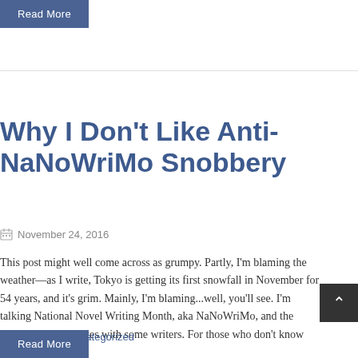Read More
Why I Don't Like Anti-NaNoWriMo Snobbery
November 24, 2016
This post might well come across as grumpy. Partly, I'm blaming the weather—as I write, Tokyo is getting its first snowfall in November for 54 years, and it's grim. Mainly, I'm blaming...well, you'll see. I'm talking National Novel Writing Month, aka NaNoWriMo, and the negativity it generates with some writers. For those who don't know [...]
Posted in Uncategorized
Read More